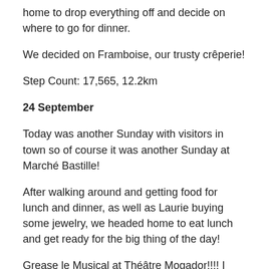home to drop everything off and decide on where to go for dinner.
We decided on Framboise, our trusty crêperie!
Step Count: 17,565, 12.2km
24 September
Today was another Sunday with visitors in town so of course it was another Sunday at Marché Bastille!
After walking around and getting food for lunch and dinner, as well as Laurie buying some jewelry, we headed home to eat lunch and get ready for the big thing of the day!
Grease le Musical at Théâtre Mogador!!!! I was so excited. The performers were so incredibly talented but it was in French and English so Jer and I could follow along with